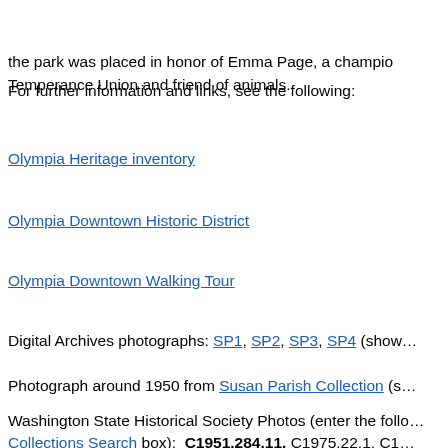the park was placed in honor of Emma Page, a champion of the Temperance Union and friend of animals.
For further information and links, see the following:
Olympia Heritage inventory
Olympia Downtown Historic District
Olympia Downtown Walking Tour
Digital Archives photographs: SP1, SP2, SP3, SP4 (show…
Photograph around 1950 from Susan Parish Collection (s…
Washington State Historical Society Photos (enter the follo… Collections Search box): C1951.284.11, C1975.22.1, C1… C1945.1.2 (Spanish-American soldiers' burial day), C195… Meeker at laying of Sacajawea monument)